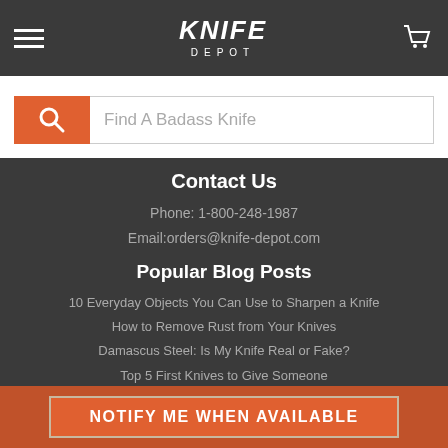Knife Depot
[Figure (screenshot): Search bar with orange search button and placeholder text 'Find A Badass Knife']
Contact Us
Phone: 1-800-248-1987
Email:orders@knife-depot.com
Popular Blog Posts
10 Everyday Objects You Can Use to Sharpen a Knife
How to Remove Rust from Your Knives
Damascus Steel: Is My Knife Real or Fake?
Top 5 First Knives to Give Someone
Guides
How to Throw a Knife for Beginners
101 Uses for the Pocket Knife
NOTIFY ME WHEN AVAILABLE